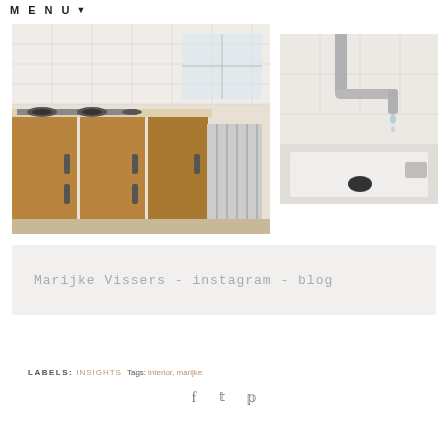MENU ▼
[Figure (photo): Kitchen with wooden cabinets, gas stove, and radiator visible in background]
[Figure (photo): Close-up of chrome faucet and white sink with dripping water]
Marijke Vissers - instagram - blog
LABELS: INSIGHTS Tags: interior, marijke
BACK TO TOP
f  t  p